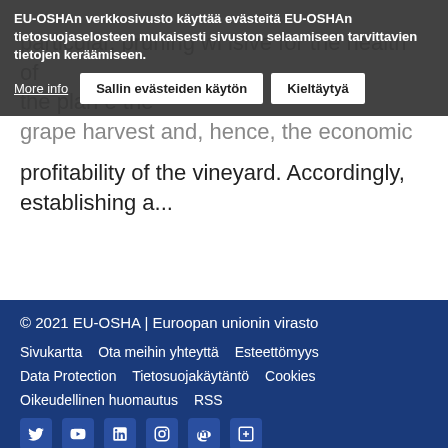EU-OSHAn verkkosivusto käyttää evästeitä EU-OSHAn tietosuojaselosteen mukaisesti sivuston selaamiseen tarvittavien tietojen keräämiseen.
particular, pruning wi... isive for the health of the plan... é... the grape harvest and, hence, the economic profitability of the vineyard. Accordingly, establishing a...
Katso lisää →
© 2021 EU-OSHA | Euroopan unionin virasto
Sivukartta   Ota meihin yhteyttä   Esteettömyys
Data Protection   Tietosuojakäytäntö   Cookies
Oikeudellinen huomautus   RSS